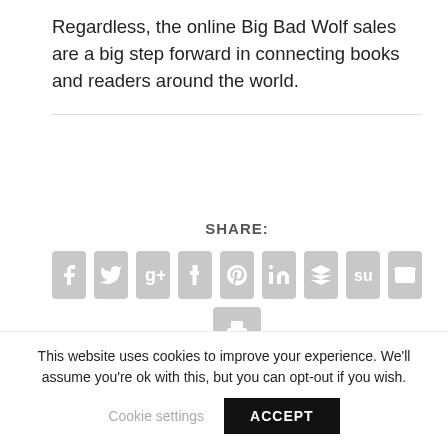Regardless, the online Big Bad Wolf sales are a big step forward in connecting books and readers around the world.
SHARE:
[Figure (other): Row of social share icon buttons (Facebook, Twitter, Google+, Tumblr, Pinterest, LinkedIn, Buffer, StumbleUpon, Email) and a print button below]
RATE:
This website uses cookies to improve your experience. We'll assume you're ok with this, but you can opt-out if you wish.
Cookie settings
ACCEPT